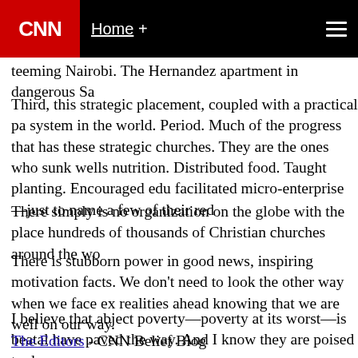CNN — Home +
teeming Nairobi. The Hernandez apartment in dangerous Sa
Third, this strategic placement, coupled with a practical pa system in the world. Period. Much of the progress that has these strategic churches. They are the ones who sunk wells nutrition. Distributed food. Taught planting. Encouraged edu facilitated micro-enterprise—just to name a few of their red
There simply is no organization on the globe with the place hundreds of thousands of Christian churches around the wo
There is stubborn power in good news, inspiring motivation facts. We don't need to look the other way when we face ex realities ahead knowing that we are well on our way.
I believe that abject poverty—poverty at its worst—is beatal have paved the way. And I know they are poised to do even
The Editors - CNN Belief Blog